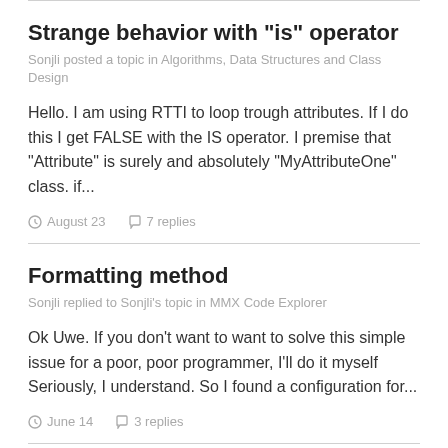Strange behavior with "is" operator
Sonjli posted a topic in Algorithms, Data Structures and Class Design
Hello. I am using RTTI to loop trough attributes. If I do this I get FALSE with the IS operator. I premise that "Attribute" is surely and absolutely "MyAttributeOne" class. if...
August 23  7 replies
Formatting method
Sonjli replied to Sonjli's topic in MMX Code Explorer
Ok Uwe. If you don't want to want to solve this simple issue for a poor, poor programmer, I'll do it myself Seriously, I understand. So I found a configuration for...
June 14  3 replies